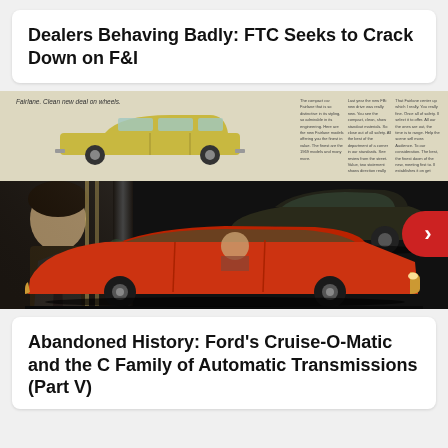Dealers Behaving Badly: FTC Seeks to Crack Down on F&I
[Figure (photo): Vintage Ford automobile brochure showing a station wagon on a light background (top half) and a dark showroom scene with a young man, a dark-colored car (top right), and a large orange/red classic American car (bottom), resembling a 1970s era promotional image. A red circular next-arrow button overlays the right edge.]
Abandoned History: Ford's Cruise-O-Matic and the C Family of Automatic Transmissions (Part V)